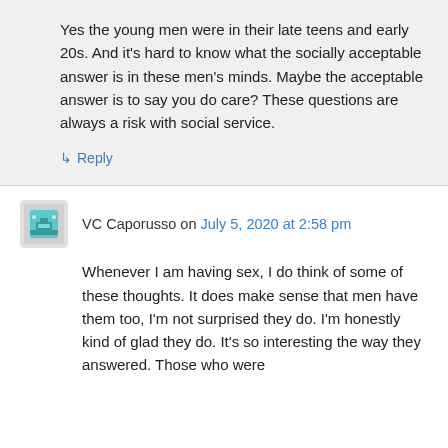Yes the young men were in their late teens and early 20s. And it's hard to know what the socially acceptable answer is in these men's minds. Maybe the acceptable answer is to say you do care? These questions are always a risk with social service.
↳ Reply
VC Caporusso on July 5, 2020 at 2:58 pm
Whenever I am having sex, I do think of some of these thoughts. It does make sense that men have them too, I'm not surprised they do. I'm honestly kind of glad they do. It's so interesting the way they answered. Those who wore